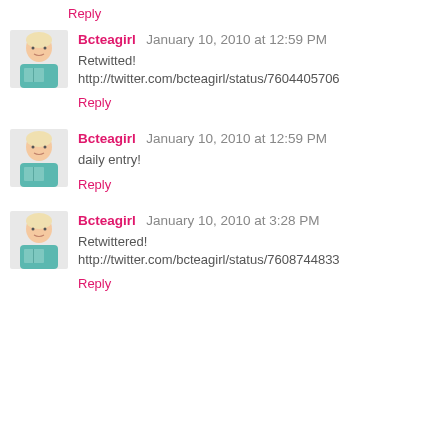Reply
Bcteagirl  January 10, 2010 at 12:59 PM
Retwitted!
http://twitter.com/bcteagirl/status/7604405706
Reply
Bcteagirl  January 10, 2010 at 12:59 PM
daily entry!
Reply
Bcteagirl  January 10, 2010 at 3:28 PM
Retwittered!
http://twitter.com/bcteagirl/status/7608744833
Reply